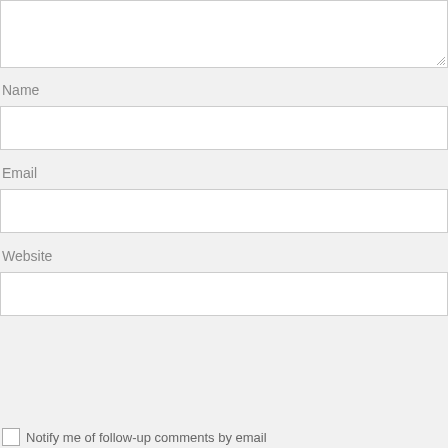[Figure (screenshot): Textarea input box with resize handle at bottom-right corner]
Name
[Figure (screenshot): Empty text input field for Name]
Email
[Figure (screenshot): Empty text input field for Email]
Website
[Figure (screenshot): Empty text input field for Website]
[Figure (screenshot): reCAPTCHA widget with checkbox, 'I'm not a robot' label, reCAPTCHA logo, Privacy and Terms links]
Notify me of follow-up comments by email